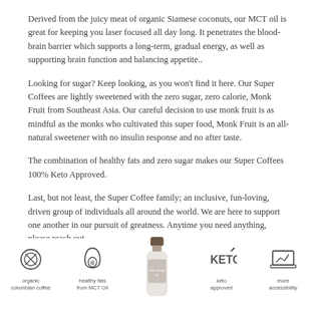Derived from the juicy meat of organic Siamese coconuts, our MCT oil is great for keeping you laser focused all day long. It penetrates the blood-brain barrier which supports a long-term, gradual energy, as well as supporting brain function and balancing appetite..
Looking for sugar? Keep looking, as you won't find it here. Our Super Coffees are lightly sweetened with the zero sugar, zero calorie, Monk Fruit from Southeast Asia. Our careful decision to use monk fruit is as mindful as the monks who cultivated this super food, Monk Fruit is an all-natural sweetener with no insulin response and no after taste.
The combination of healthy fats and zero sugar makes our Super Coffees 100% Keto Approved.
Last, but not least, the Super Coffee family; an inclusive, fun-loving, driven group of individuals all around the world. We are here to support one another in our pursuit of greatness. Anytime you need anything, please reach out.
CARPE DOMINATE
[Figure (infographic): Bottom strip with product icons: organic colombian coffee icon (coffee bean), healthy fats from MCT Oil icon (avocado), Super Coffee bottle in center, keto approved icon, and more accessibility icon with laptop]